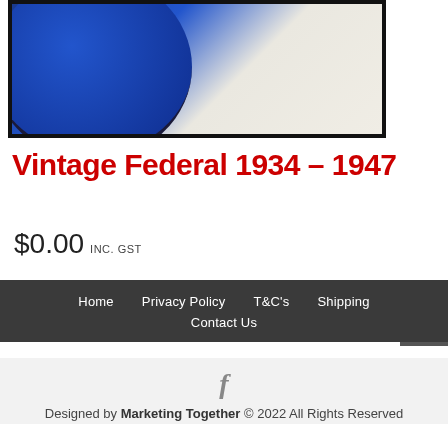[Figure (photo): Partial view of a blue ceramic plate or bowl with dark border on a light background, shown from above at an angle.]
Vintage Federal 1934 – 1947
$0.00 INC. GST
Home  Privacy Policy  T&C's  Shipping  Contact Us
f  Designed by Marketing Together © 2022 All Rights Reserved